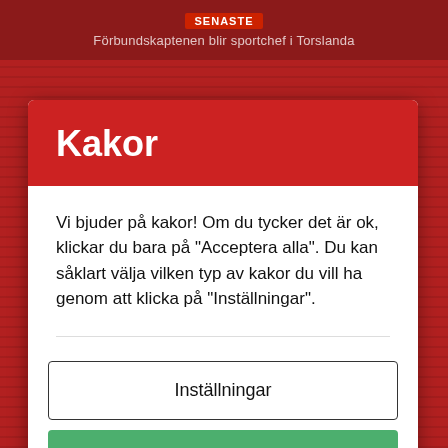SENASTE
Förbundskaptenen blir sportchef i Torslanda
Kakor
Vi bjuder på kakor! Om du tycker det är ok, klickar du bara på "Acceptera alla". Du kan såklart välja vilken typ av kakor du vill ha genom att klicka på "Inställningar".
Inställningar
Acceptera alla